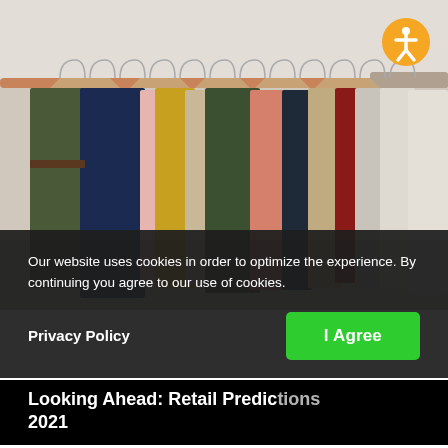[Figure (photo): A clothing rack with multiple colorful garments hanging on wooden and metal hangers. Clothes include green, navy, pink, yellow, dark green, salmon, dark, beige, red, and white items hung densely together.]
Our website uses cookies in order to optimize the experience. By continuing you agree to our use of cookies.
Privacy Policy
I Agree
Looking Ahead: Retail Predictions 2021